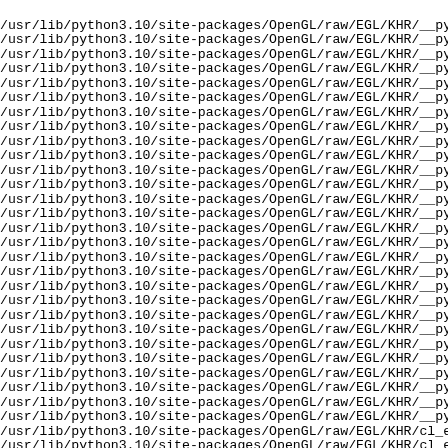/usr/lib/python3.10/site-packages/OpenGL/raw/EGL/KHR/__py
/usr/lib/python3.10/site-packages/OpenGL/raw/EGL/KHR/__py
/usr/lib/python3.10/site-packages/OpenGL/raw/EGL/KHR/__py
/usr/lib/python3.10/site-packages/OpenGL/raw/EGL/KHR/__py
/usr/lib/python3.10/site-packages/OpenGL/raw/EGL/KHR/__py
/usr/lib/python3.10/site-packages/OpenGL/raw/EGL/KHR/__py
/usr/lib/python3.10/site-packages/OpenGL/raw/EGL/KHR/__py
/usr/lib/python3.10/site-packages/OpenGL/raw/EGL/KHR/__py
/usr/lib/python3.10/site-packages/OpenGL/raw/EGL/KHR/__py
/usr/lib/python3.10/site-packages/OpenGL/raw/EGL/KHR/__py
/usr/lib/python3.10/site-packages/OpenGL/raw/EGL/KHR/__py
/usr/lib/python3.10/site-packages/OpenGL/raw/EGL/KHR/__py
/usr/lib/python3.10/site-packages/OpenGL/raw/EGL/KHR/__py
/usr/lib/python3.10/site-packages/OpenGL/raw/EGL/KHR/__py
/usr/lib/python3.10/site-packages/OpenGL/raw/EGL/KHR/__py
/usr/lib/python3.10/site-packages/OpenGL/raw/EGL/KHR/__py
/usr/lib/python3.10/site-packages/OpenGL/raw/EGL/KHR/__py
/usr/lib/python3.10/site-packages/OpenGL/raw/EGL/KHR/__py
/usr/lib/python3.10/site-packages/OpenGL/raw/EGL/KHR/__py
/usr/lib/python3.10/site-packages/OpenGL/raw/EGL/KHR/__py
/usr/lib/python3.10/site-packages/OpenGL/raw/EGL/KHR/__py
/usr/lib/python3.10/site-packages/OpenGL/raw/EGL/KHR/__py
/usr/lib/python3.10/site-packages/OpenGL/raw/EGL/KHR/__py
/usr/lib/python3.10/site-packages/OpenGL/raw/EGL/KHR/__py
/usr/lib/python3.10/site-packages/OpenGL/raw/EGL/KHR/__py
/usr/lib/python3.10/site-packages/OpenGL/raw/EGL/KHR/__py
/usr/lib/python3.10/site-packages/OpenGL/raw/EGL/KHR/__py
/usr/lib/python3.10/site-packages/OpenGL/raw/EGL/KHR/__py
/usr/lib/python3.10/site-packages/OpenGL/raw/EGL/KHR/cl_e
/usr/lib/python3.10/site-packages/OpenGL/raw/EGL/KHR/cl_e
/usr/lib/python3.10/site-packages/OpenGL/raw/EGL/KHR/clie
/usr/lib/python3.10/site-packages/OpenGL/raw/EGL/KHR/clie